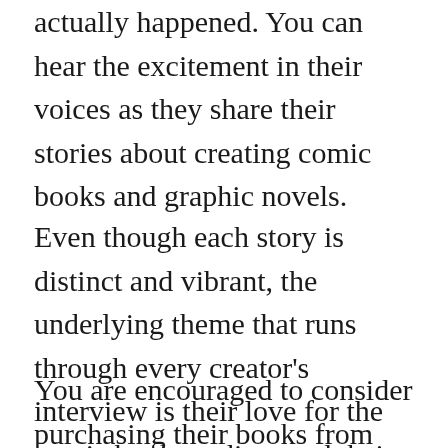actually happened. You can hear the excitement in their voices as they share their stories about creating comic books and graphic novels.
Even though each story is distinct and vibrant, the underlying theme that runs through every creator's interview is their love for the comic book medium and their eagerness to share it with others.
You are encouraged to consider purchasing their books from their stores or from your local book store.